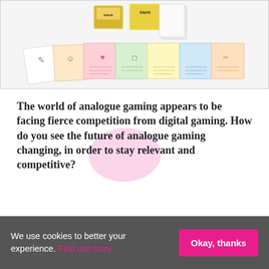[Figure (photo): Photo of a blank card game box and colorful playing cards spread out on a white surface]
The world of analogue gaming appears to be facing fierce competition from digital gaming. How do you see the future of analogue gaming changing, in order to stay relevant and competitive?
I would disagree about the competition, in fact I
We use cookies to better your experience. Find out more.
Okay, thanks